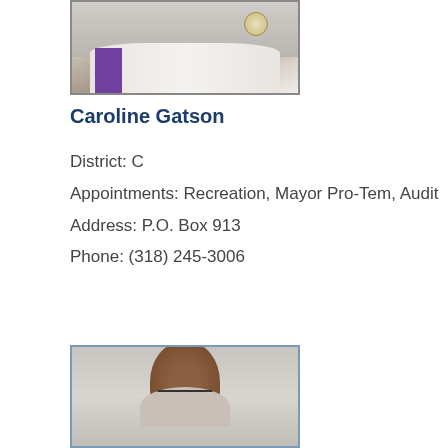[Figure (photo): Partial photo of Caroline Gatson, cropped showing torso/upper body in white garment with purple accent and badge]
Caroline Gatson
District: C
Appointments: Recreation, Mayor Pro-Tem, Audit
Address: P.O. Box 913
Phone: (318) 245-3006
[Figure (photo): Headshot photo of a man wearing glasses, partial view cropped at bottom of page]